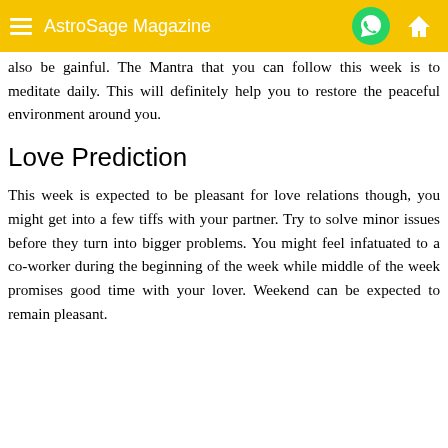AstroSage Magazine
also be gainful. The Mantra that you can follow this week is to meditate daily. This will definitely help you to restore the peaceful environment around you.
Love Prediction
This week is expected to be pleasant for love relations though, you might get into a few tiffs with your partner. Try to solve minor issues before they turn into bigger problems. You might feel infatuated to a co-worker during the beginning of the week while middle of the week promises good time with your lover. Weekend can be expected to remain pleasant.